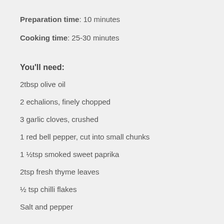Preparation time: 10 minutes
Cooking time: 25-30 minutes
You'll need:
2tbsp olive oil
2 echalions, finely chopped
3 garlic cloves, crushed
1 red bell pepper, cut into small chunks
1 ½tsp smoked sweet paprika
2tsp fresh thyme leaves
½ tsp chilli flakes
Salt and pepper